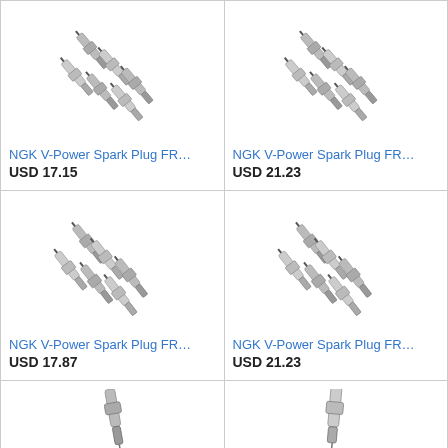[Figure (photo): NGK V-Power Spark Plugs, set of 6, product image top-left]
NGK V-Power Spark Plug FR…
USD 17.15
[Figure (photo): NGK V-Power Spark Plugs, set of 6, product image top-right]
NGK V-Power Spark Plug FR…
USD 21.23
[Figure (photo): NGK V-Power Spark Plugs, set of 6, product image middle-left]
NGK V-Power Spark Plug FR…
USD 17.87
[Figure (photo): NGK V-Power Spark Plugs, set of 6, product image middle-right]
NGK V-Power Spark Plug FR…
USD 21.23
[Figure (photo): Partial spark plug product image bottom-left]
[Figure (photo): Partial spark plug product image bottom-right]